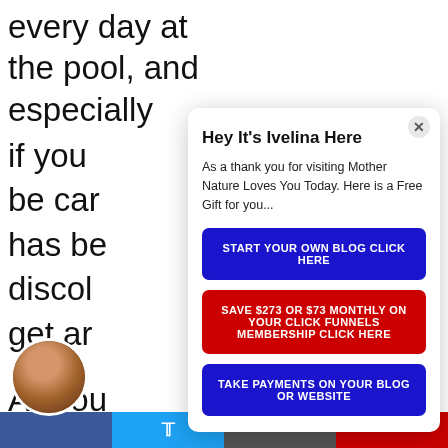every day at the pool, and especially if you... be car... has be... discol... get ar... All you... leave-... your h...
[Figure (screenshot): Popup modal overlay on a blog page with heading 'Hey It's Ivelina Here', body text about a free gift for visiting Mother Nature Loves You Today, and three CTA buttons: blue 'START YOUR OWN BLOG CLICK HERE', red 'SAVE $273 OR $73 MONTHLY ON YOUR CLICK FUNNELS MEMBERSHIP CLICK HERE', and blue 'TAKE PAYMENTS ON YOUR BLOG OR WEBSITE']
Hey It's Ivelina Here
As a thank you for visiting Mother Nature Loves You Today.  Here is a Free Gift for you...
START YOUR OWN BLOG CLICK HERE
SAVE $273 OR $73 MONTHLY ON YOUR CLICK FUNNELS MEMBERSHIP CLICK HERE
TAKE PAYMENTS ON YOUR BLOG OR WEBSITE